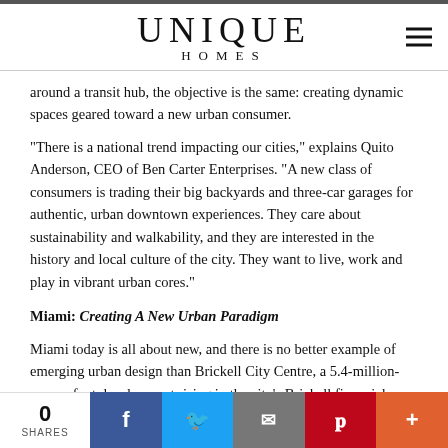UNIQUE HOMES
around a transit hub, the objective is the same: creating dynamic spaces geared toward a new urban consumer.
"There is a national trend impacting our cities," explains Quito Anderson, CEO of Ben Carter Enterprises. "A new class of consumers is trading their big backyards and three-car garages for authentic, urban downtown experiences. They care about sustainability and walkability, and they are interested in the history and local culture of the city. They want to live, work and play in vibrant urban cores."
Miami: Creating A New Urban Paradigm
Miami today is all about new, and there is no better example of emerging urban design than Brickell City Centre, a 5.4-million-square-foot development rising in the city's Brickell financial district. It is the largest private sector project currently under construction in
0 SHARES  f  t  mail  p  +